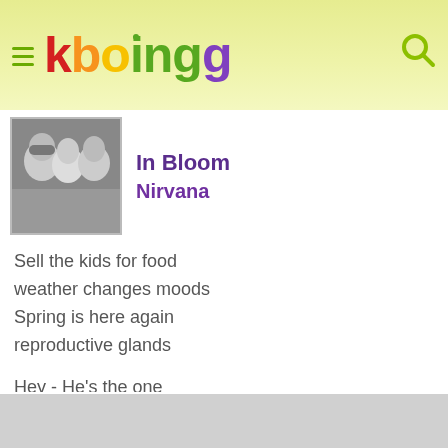kboing
In Bloom
Nirvana
Sell the kids for food
weather changes moods
Spring is here again
reproductive glands
Hey - He's the one
Who likes all our pretty songs
And he likes to sing along
And he likes to shoot his gun
But he knows not what it means